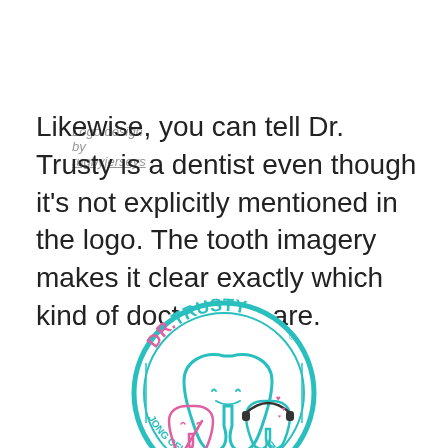Logo design by rugbyjerseys
Likewise, you can tell Dr. Trusty is a dentist even though it’s not explicitly mentioned in the logo. The tooth imagery makes it clear exactly which kind of doctor they are.
[Figure (logo): Dr. Trusty dental logo: circular teal-bordered badge with cartoon tooth characters and text 'DR. TRUSTY' at top and 'JONG CELEERD OUD GEDAAN' along the bottom arc]